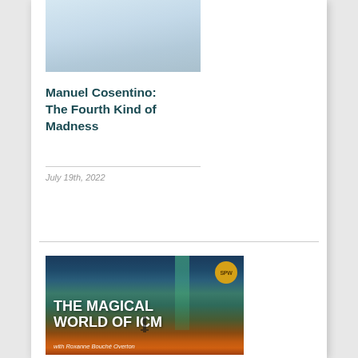[Figure (photo): Book cover with light blue/grey sky gradient tones, partially visible at top of card]
Manuel Cosentino: The Fourth Kind of Madness
July 19th, 2022
[Figure (illustration): Podcast cover art: 'THE MAGICAL WORLD OF ICM' with dark teal, green and orange sunset background, silhouetted tower, gold badge top right reading 'SPW', subtitle 'with Roxanne Bouché Overton']